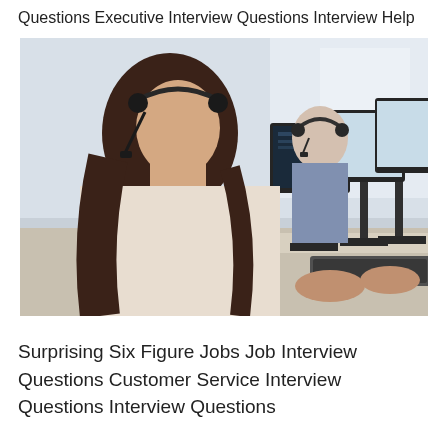Questions Executive Interview Questions Interview Help
[Figure (photo): Two call center agents wearing headsets sitting at desks with multiple computer monitors, in a modern office environment. A woman with long dark hair in the foreground and a man behind her, both using keyboards.]
Surprising Six Figure Jobs Job Interview Questions Customer Service Interview Questions Interview Questions